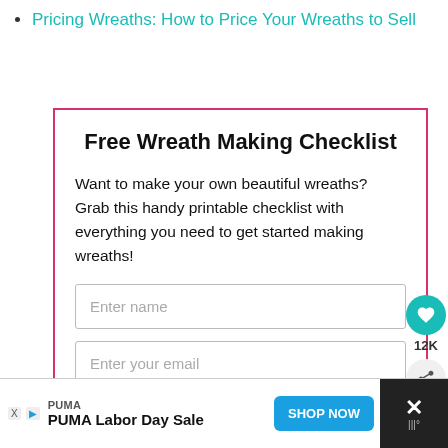Pricing Wreaths: How to Price Your Wreaths to Sell
Free Wreath Making Checklist
Want to make your own beautiful wreaths? Grab this handy printable checklist with everything you need to get started making wreaths!
[Figure (screenshot): Email signup form with Enter name and Enter your email input fields inside a pink-bordered card]
[Figure (infographic): Social share bar with teal heart button showing 12K likes and a share button]
[Figure (screenshot): PUMA Labor Day Sale advertisement banner with SHOP NOW button and close X button]